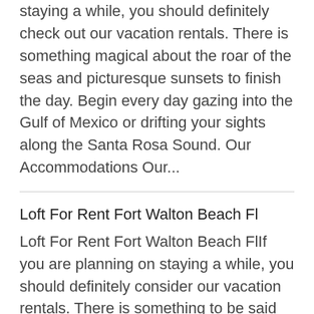staying a while, you should definitely check out our vacation rentals. There is something magical about the roar of the seas and picturesque sunsets to finish the day. Begin every day gazing into the Gulf of Mexico or drifting your sights along the Santa Rosa Sound. Our Accommodations Our...
Loft For Rent Fort Walton Beach Fl
Loft For Rent Fort Walton Beach FlIf you are planning on staying a while, you should definitely consider our vacation rentals. There is something to be said about the roar of the ocean and perfect sunsets to end your day. Start your day gazing into the Gulf of Mexico or drifting your sights along the Santa Rosa Sound. Our Properties Our...